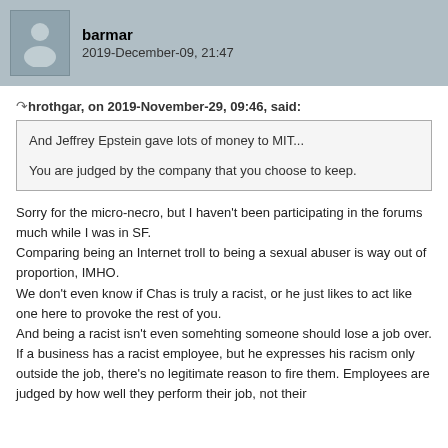barmar
2019-December-09, 21:47
hrothgar, on 2019-November-29, 09:46, said:
And Jeffrey Epstein gave lots of money to MIT...

You are judged by the company that you choose to keep.
Sorry for the micro-necro, but I haven't been participating in the forums much while I was in SF.
Comparing being an Internet troll to being a sexual abuser is way out of proportion, IMHO.
We don't even know if Chas is truly a racist, or he just likes to act like one here to provoke the rest of you.
And being a racist isn't even somehting someone should lose a job over. If a business has a racist employee, but he expresses his racism only outside the job, there's no legitimate reason to fire them. Employees are judged by how well they perform their job, not their